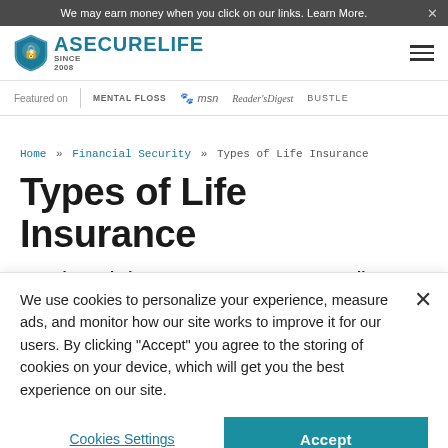We may earn money when you click on our links. Learn More.
[Figure (logo): ASecureLife logo with shield icon and 'SINCE 2008' text]
Featured on MENTAL FLOSS msn Reader's Digest BUSTLE
Home » Financial Security » Types of Life Insurance
Types of Life Insurance
By Celeste Tholen    April 07, 2017
We use cookies to personalize your experience, measure ads, and monitor how our site works to improve it for our users. By clicking "Accept" you agree to the storing of cookies on your device, which will get you the best experience on our site.
Cookies Settings   Accept